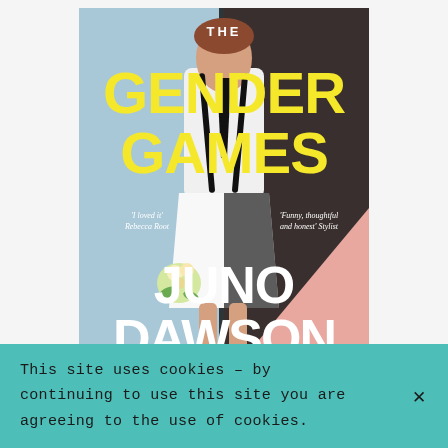[Figure (illustration): Book cover for 'The Gender Games' by Juno Dawson. Split background of blue and pink. A person in white shirt with black tie and suspenders, wearing a white skirt, holding flowers. Large yellow bold text reads 'THE GENDER GAMES'. White text at bottom reads 'JUNO DAWSON'. Quotes: 'I loved it' Rebecca Root and 'Funny, thoughtful and honest' Stylist.]
This site uses cookies – by continuing to use this site you are agreeing to the use of cookies.